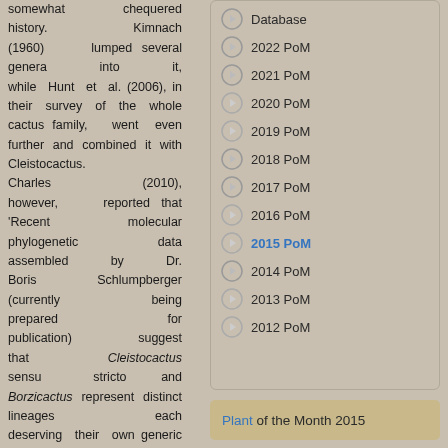somewhat chequered history. Kimnach (1960) lumped several genera into it, while Hunt et al. (2006), in their survey of the whole cactus family, went even further and combined it with Cleistocactus. Charles (2010), however, reported that 'Recent molecular phylogenetic data assembled by Dr. Boris Schlumpberger (currently being prepared for publication) suggest that Cleistocactus sensu stricto and Borzicactus represent distinct lineages each deserving their own generic rank'. This is
Database
2022 PoM
2021 PoM
2020 PoM
2019 PoM
2018 PoM
2017 PoM
2016 PoM
2015 PoM
2014 PoM
2013 PoM
2012 PoM
Plant of the Month 2015